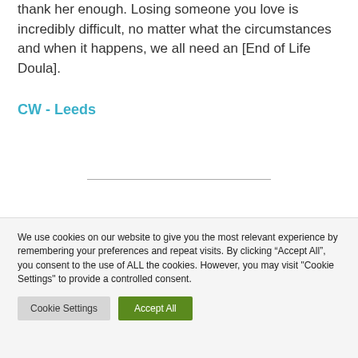thank her enough. Losing someone you love is incredibly difficult, no matter what the circumstances and when it happens, we all need an [End of Life Doula].
CW - Leeds
We use cookies on our website to give you the most relevant experience by remembering your preferences and repeat visits. By clicking “Accept All”, you consent to the use of ALL the cookies. However, you may visit "Cookie Settings" to provide a controlled consent.